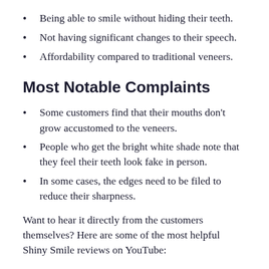Being able to smile without hiding their teeth.
Not having significant changes to their speech.
Affordability compared to traditional veneers.
Most Notable Complaints
Some customers find that their mouths don't grow accustomed to the veneers.
People who get the bright white shade note that they feel their teeth look fake in person.
In some cases, the edges need to be filed to reduce their sharpness.
Want to hear it directly from the customers themselves? Here are some of the most helpful Shiny Smile reviews on YouTube: